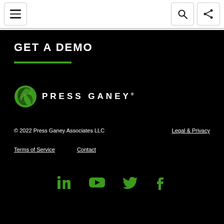☰ [menu] [search] [share]
GET A DEMO
[Figure (logo): Press Ganey logo — green circular icon with leaf/swoosh design next to 'PRESS GANEY' text in white spaced capitals]
© 2022 Press Ganey Associates LLC
Legal & Privacy
Terms of Service
Contact
[Figure (illustration): Social media icons in green: LinkedIn, YouTube, Twitter, Facebook]